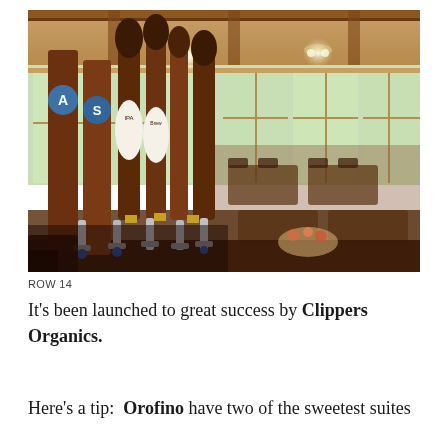[Figure (photo): Interior of a brewery taproom showing multiple beer tap handles in the foreground, with a bright, wood-paneled dining room with large windows and tables in the background.]
ROW 14
It's been launched to great success by Clippers Organics.
Here's a tip:  Orofino have two of the sweetest suites